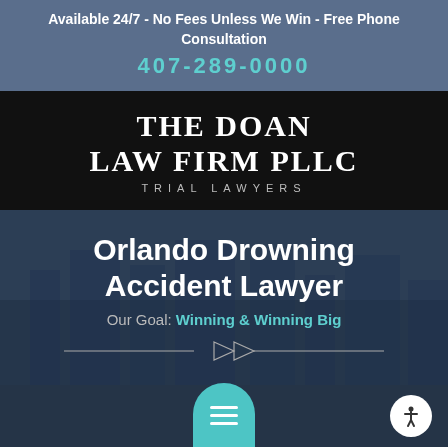Available 24/7 - No Fees Unless We Win - Free Phone Consultation
407-289-0000
[Figure (logo): The Doan Law Firm PLLC - Trial Lawyers logo in white text on black background]
Orlando Drowning Accident Lawyer
Our Goal: Winning & Winning Big
[Figure (infographic): City skyline background with decorative divider line and navigation menu button (teal rounded hamburger icon) and accessibility button at bottom right]